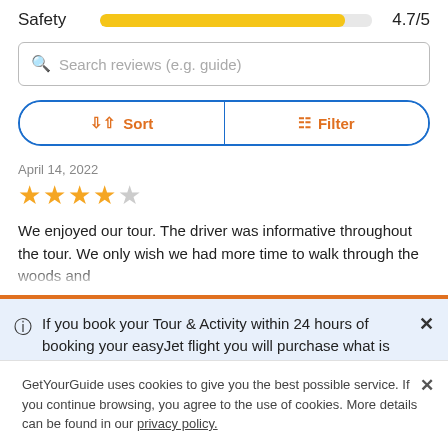Safety 4.7/5
[Figure (infographic): Search reviews input box with magnifying glass icon and placeholder text 'Search reviews (e.g. guide)']
[Figure (infographic): Sort and Filter button row with orange icons inside blue rounded border]
April 14, 2022
[Figure (infographic): 4 out of 5 star rating: 4 filled yellow stars and 1 empty star]
We enjoyed our tour. The driver was informative throughout the tour. We only wish we had more time to walk through the woods and
If you book your Tour & Activity within 24 hours of booking your easyJet flight you will purchase what is known as a Linked Travel Arrangement. This means
GetYourGuide uses cookies to give you the best possible service. If you continue browsing, you agree to the use of cookies. More details can be found in our privacy policy.